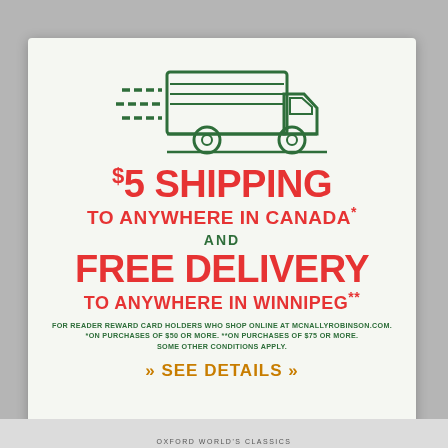[Figure (illustration): Line art illustration of a delivery truck moving fast, with speed lines on the left side, drawn in dark teal/green outline style on a light background.]
$5 SHIPPING TO ANYWHERE IN CANADA*
AND
FREE DELIVERY TO ANYWHERE IN WINNIPEG**
FOR READER REWARD CARD HOLDERS WHO SHOP ONLINE AT McNALLYROBINSON.COM. *ON PURCHASES OF $50 OR MORE. **ON PURCHASES OF $75 OR MORE. SOME OTHER CONDITIONS APPLY.
» SEE DETAILS »